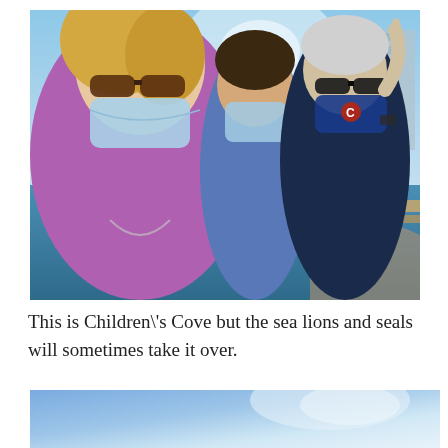[Figure (photo): Selfie of three people wearing face masks standing outdoors near the ocean at Children's Cove. A woman in a purple shirt and sunglasses is in the foreground, a child in a blue shirt is in the middle, and a man in a dark sleeveless shirt wearing a Cubs mask is in the background with his hand raised. Ocean waves and a tall building are visible in the background.]
This is Children\'s Cove but the sea lions and seals will sometimes take it over.
[Figure (photo): Partial photo showing a blue sky and light area, cropped at the bottom of the page.]